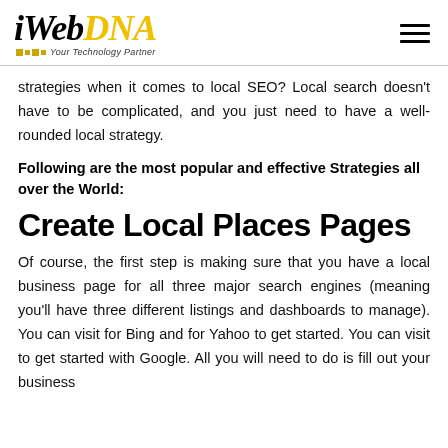[Figure (logo): iWebDNA logo with 'iWeb' in black italic serif and 'DNA' in yellow, tagline 'Your Technology Partner' with colored squares, and hamburger menu icon on the right]
strategies when it comes to local SEO? Local search doesn't have to be complicated, and you just need to have a well-rounded local strategy.
Following are the most popular and effective Strategies all over the World:
Create Local Places Pages
Of course, the first step is making sure that you have a local business page for all three major search engines (meaning you'll have three different listings and dashboards to manage). You can visit for Bing and for Yahoo to get started. You can visit to get started with Google. All you will need to do is fill out your business